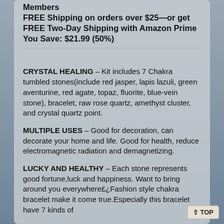Members
FREE Shipping on orders over $25—or get FREE Two-Day Shipping with Amazon Prime
You Save: $21.99 (50%)
CRYSTAL HEALING – Kit includes 7 Chakra tumbled stones(include red jasper, lapis lazuli, green aventurine, red agate, topaz, fluorite, blue-vein stone), bracelet, raw rose quartz, amethyst cluster, and crystal quartz point.
MULTIPLE USES – Good for decoration, can decorate your home and life. Good for health, reduce electromagnetic radiation and demagnetizing.
LUCKY AND HEALTHY – Each stone represents good fortune,luck and happiness. Want to bring around you everywhere£¿Fashion style chakra bracelet make it come true.Especially this bracelet have 7 kinds of